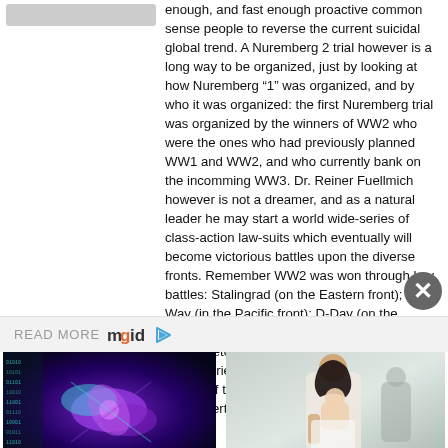enough, and fast enough proactive common sense people to reverse the current suicidal global trend. A Nuremberg 2 trial however is a long way to be organized, just by looking at how Nuremberg “1” was organized, and by who it was organized: the first Nuremberg trial was organized by the winners of WW2 who were the ones who had previously planned WW1 and WW2, and who currently bank on the incomming WW3. Dr. Reiner Fuellmich however is not a dreamer, and as a natural leader he may start a world wide-series of class-action law-suits which eventually will become victorious battles upon the diverse fronts. Remember WW2 was won through key battles: Stalingrad (on the Eastern front); Mid-Way (in the Pacific front); D-Day (on the European front); Saipan, the Battle of the Bulges, etc. The same could happen through key victories in the independent Supreme Courts of the nations which have not already been overtaken by Courts ran by
READ MORE
[Figure (logo): mgid logo with play icon]
[Figure (photo): Digital illustration of DNA double helix strands glowing purple and teal on dark blue background]
Women Inventions Credited To Men: It's Not As Easy As It Looks
[Figure (photo): Woman with dark hair holding a baby, outdoors in natural setting]
9 Simple Ways To Shift From Negativity In Relationships